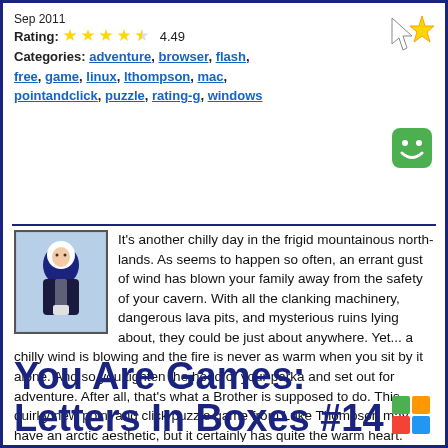Sep 2011
Rating: 4.49
Categories: adventure, browser, flash, free, game, linux, lthompson, mac, pointandclick, puzzle, rating-g, windows
[Figure (illustration): Yellow star with arrow/cursor icon in top right]
[Figure (illustration): Green smiley face icon on right side]
[Figure (illustration): Small game icon showing a character in a winter parka]
It's another chilly day in the frigid mountainous north-lands. As seems to happen so often, an errant gust of wind has blown your family away from the safety of your cavern. With all the clanking machinery, dangerous lava pits, and mysterious ruins lying about, they could be just about anywhere. Yet... a chilly wind is blowing and the fire is never as warm when you sit by it alone. And so you tighten the hood of your parka and set out for adventure. After all, that's what a Brother is supposed to do. This quirky new point and click puzzle game from Luke Thompson may have an arctic aesthetic, but it certainly has quite the warm heart.
You Are Games: Letters In Boxes #14
[Figure (illustration): Colorful cube/blocks icon at bottom right]